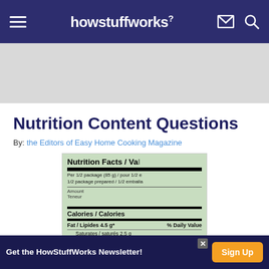howstuffworks
[Figure (other): Gray advertisement placeholder banner]
Nutrition Content Questions
By: the Editors of Easy Home Cooking Magazine
[Figure (photo): Close-up photo of a Nutrition Facts / Valeur nutritive label showing Per 1/2 package (85g), Calories/Calories, Fat/Lipides 4.5g*, Saturates/saturés 2.5g, + Trans/trans 0.0]
Get the HowStuffWorks Newsletter! Sign Up